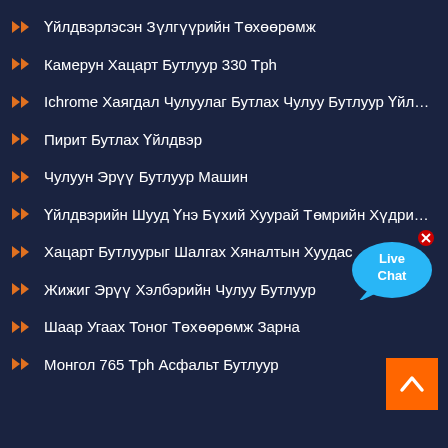Үйлдвэрлэсэн Зүлгүүрийн Төхөөрөмж
Камерун Хацарт Бутлуур 330 Tph
Ichrome Хаягдал Чулуулаг Бутлах Чулуу Бутлуур Үйлдвэрлэ…
Пирит Бутлах Үйлдвэр
Чулуун Эрүү Бутлуур Машин
Үйлдвэрийн Шууд Үнэ Бүхий Хуурай Төмрийн Хүдрийн Сор…
Хацарт Бутлуурыг Шалгах Хяналтын Хуудас
Жижиг Эрүү Хэлбэрийн Чулуу Бутлуур
Шаар Угаах Тоног Төхөөрөмж Зарна
Монгол 765 Tph Асфальт Бутлуур